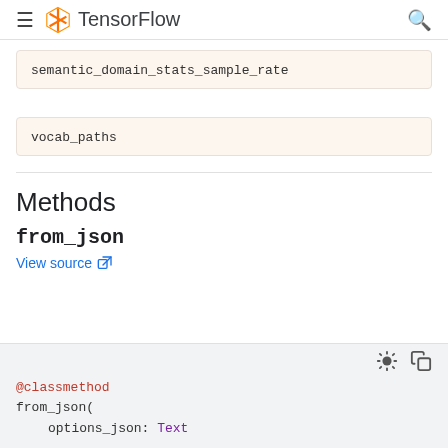TensorFlow
semantic_domain_stats_sample_rate
vocab_paths
Methods
from_json
View source
@classmethod
from_json(
    options_json: Text